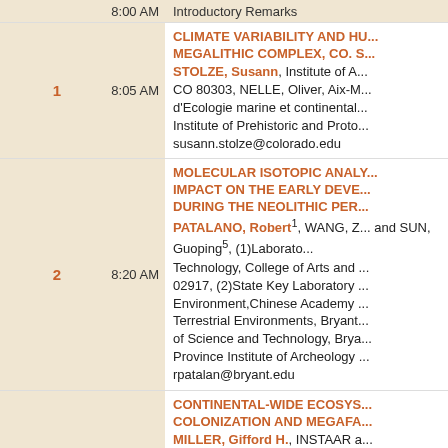8:00 AM  Introductory Remarks
1  8:05 AM  CLIMATE VARIABILITY AND HU... MEGALITHIC COMPLEX, CO. S... STOLZE, Susann, Institute of A... CO 80303, NELLE, Oliver, Aix-M... d'Ecologie marine et continental... Institute of Prehistoric and Proto... susann.stolze@colorado.edu
2  8:20 AM  MOLECULAR ISOTOPIC ANALY... IMPACT ON THE EARLY DEVE... DURING THE NEOLITHIC PER... PATALANO, Robert1, WANG, Z... and SUN, Guoping5, (1)Laborato... Technology, College of Arts and ... 02917, (2)State Key Laboratory ... Environment,Chinese Academy ... Terrestrial Environments, Bryant... of Science and Technology, Brya... Province Institute of Archeology ... rpatalan@bryant.edu
3  8:35 AM  CONTINENTAL-WIDE ECOSYS... COLONIZATION AND MEGAFA... MILLER, Gifford H., INSTAAR a... 0450, FOGEL, Marilyn L., Schoo... 95343, MAGEE, John W., Resea... Canberra, 0200, Australia, WEB... 4226, Australia, BAYNES, Alexa...